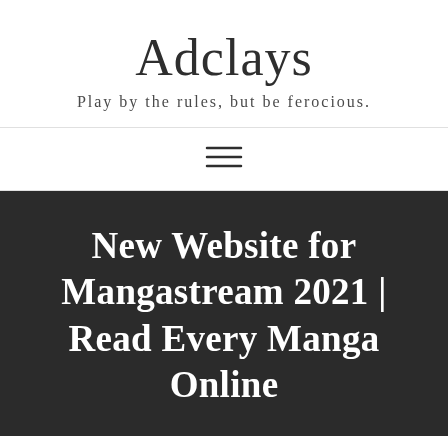Adclays
Play by the rules, but be ferocious.
[Figure (other): Hamburger menu icon (three horizontal lines)]
New Website for Mangastream 2021 | Read Every Manga Online